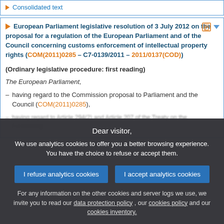Consolidated text
European Parliament legislative resolution of 3 July 2012 on the proposal for a regulation of the European Parliament and of the Council concerning customs enforcement of intellectual property rights (COM(2011)0285 – C7-0139/2011 – 2011/0137(COD))
(Ordinary legislative procedure: first reading)
The European Parliament,
– having regard to the Commission proposal to Parliament and the Council (COM(2011)0285),
– having regard to Article 294(2) and Article 207 of the Treaty on the Functioning
Dear visitor, We use analytics cookies to offer you a better browsing experience. You have the choice to refuse or accept them. I refuse analytics cookies | I accept analytics cookies. For any information on the other cookies and server logs we use, we invite you to read our data protection policy, our cookies policy and our cookies inventory.